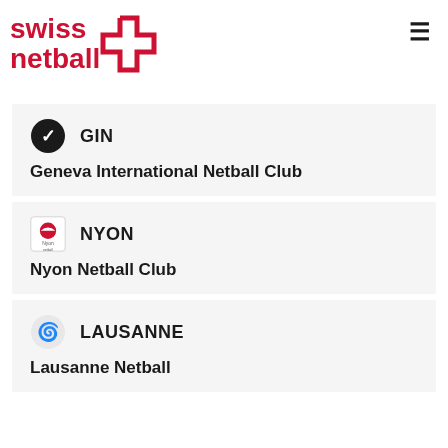swiss netball [logo]
GIN — Geneva International Netball Club
NYON — Nyon Netball Club
LAUSANNE — Lausanne Netball